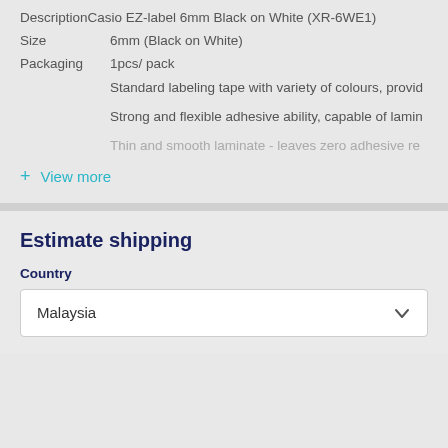Description Casio EZ-label 6mm Black on White (XR-6WE1)
Size   6mm (Black on White)
Packaging   1pcs/ pack
Standard labeling tape with variety of colours, provid...
Strong and flexible adhesive ability, capable of lamin...
Thin and smooth laminate - leaves zero adhesive re...
+ View more
Estimate shipping
Country
Malaysia